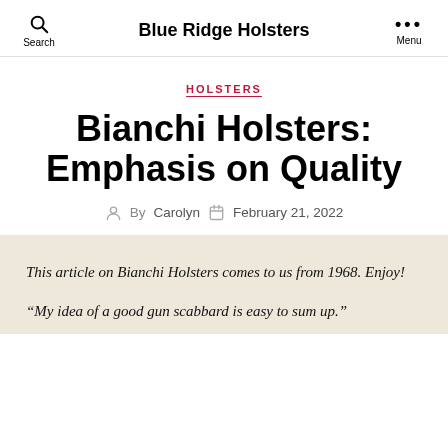Search  Blue Ridge Holsters  Menu
HOLSTERS
Bianchi Holsters: Emphasis on Quality
By Carolyn  February 21, 2022
This article on Bianchi Holsters comes to us from 1968. Enjoy!
“My idea of a good gun scabbard is easy to sum up.”